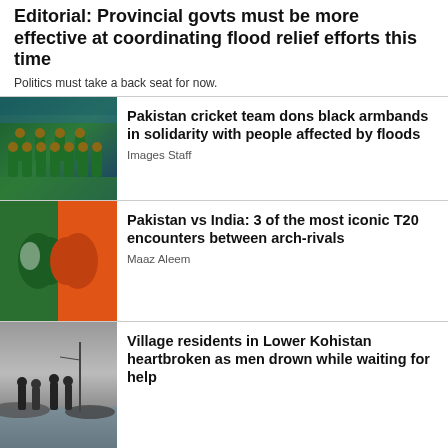Editorial: Provincial govts must be more effective at coordinating flood relief efforts this time
Politics must take a back seat for now.
[Figure (photo): Pakistan cricket team in green uniforms posing in a stadium]
Pakistan cricket team dons black armbands in solidarity with people affected by floods
Images Staff
[Figure (photo): Pakistan and India flags face to face illustration]
Pakistan vs India: 3 of the most iconic T20 encounters between arch-rivals
Maaz Aleem
[Figure (photo): Village residents in Lower Kohistan standing near floodwaters]
Village residents in Lower Kohistan heartbroken as men drown while waiting for help
[Figure (photo): Partial view of another article image at the bottom]